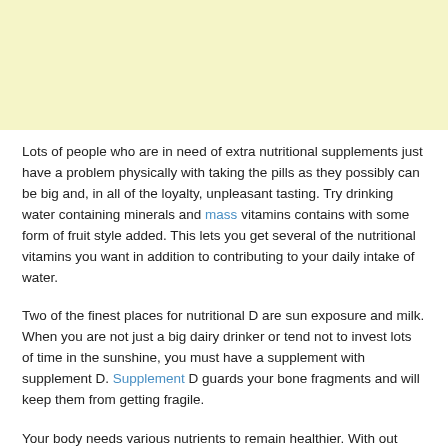[Figure (other): Light yellow advertisement banner at top of page]
Lots of people who are in need of extra nutritional supplements just have a problem physically with taking the pills as they possibly can be big and, in all of the loyalty, unpleasant tasting. Try drinking water containing minerals and mass vitamins contains with some form of fruit style added. This lets you get several of the nutritional vitamins you want in addition to contributing to your daily intake of water.
Two of the finest places for nutritional D are sun exposure and milk. When you are not just a big dairy drinker or tend not to invest lots of time in the sunshine, you must have a supplement with supplement D. Supplement D guards your bone fragments and will keep them from getting fragile.
Your body needs various nutrients to remain healthier. With out these substance, you could are afflicted by numerous health issues. Take advantage of the recommendations you've just been provided, and you may maintain your well being and quality of lifestyle.